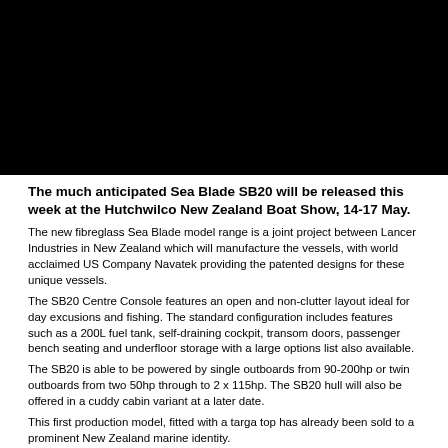[Figure (photo): Black rectangular photo placeholder at top of page]
The much anticipated Sea Blade SB20 will be released this week at the Hutchwilco New Zealand Boat Show, 14-17 May.
The new fibreglass Sea Blade model range is a joint project between Lancer Industries in New Zealand which will manufacture the vessels, with world acclaimed US Company Navatek providing the patented designs for these unique vessels.
The SB20 Centre Console features an open and non-clutter layout ideal for day excusions and fishing. The standard configuration includes features such as a 200L fuel tank, self-draining cockpit, transom doors, passenger bench seating and underfloor storage with a large options list also available.
The SB20 is able to be powered by single outboards from 90-200hp or twin outboards from two 50hp through to 2 x 115hp. The SB20 hull will also be offered in a cuddy cabin variant at a later date.
This first production model, fitted with a targa top has already been sold to a prominent New Zealand marine identity.
Unlike a conventional Deep V which can lack stability the Sea Blade is supported by the outer amas. Sea Blade's patented Ultra Deep V technology utilises a combination of longitudinal steps, chines and pads. This shape has been tested to improve lift, ride and performance characteristics A key change in the design is the increased lifting areas which reduce drag and increase ride stability.
A fine bow and high deadrise allows the Sea Blade hull to slice through chop